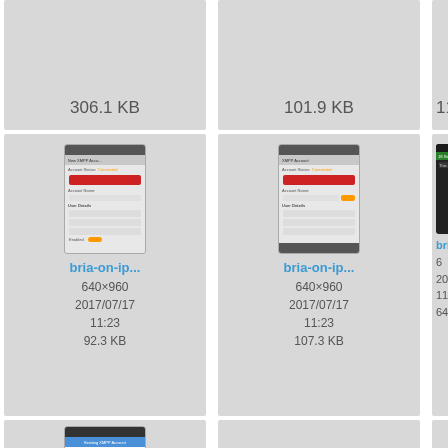[Figure (screenshot): File gallery thumbnail showing 306.1 KB file (top cropped)]
[Figure (screenshot): File gallery thumbnail showing 101.9 KB file (top cropped)]
[Figure (screenshot): File gallery thumbnail showing 111.6 KB file (top cropped, partially cut off)]
[Figure (screenshot): Mobile app screenshot labeled bria-on-ip... 640x960, 2017/07/17 11:23, 92.3 KB]
[Figure (screenshot): Mobile app screenshot labeled bria-on-ip... 640x960, 2017/07/17 11:23, 107.3 KB]
[Figure (screenshot): Mobile app screenshot labeled bria-on... 640x960, 2017/07/17 11:23, 64.9 KB (partially cut off), with edit and link icons]
[Figure (screenshot): Mobile app screenshot labeled complete-... (bottom row, partially cut off)]
[Figure (screenshot): Gray placeholder thumbnail labeled connected... (bottom row)]
[Figure (screenshot): Gray placeholder with scroll-to-top button labeled imessa... (bottom row, partially cut off)]